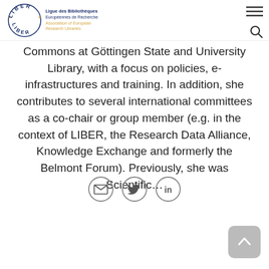LIBER – Ligue des Bibliothèques Européennes de Recherche / Association of European Research Libraries
Commons at Göttingen State and University Library, with a focus on policies, e-infrastructures and training. In addition, she contributes to several international committees as a co-chair or group member (e.g. in the context of LIBER, the Research Data Alliance, Knowledge Exchange and formerly the Belmont Forum). Previously, she was Scientific…